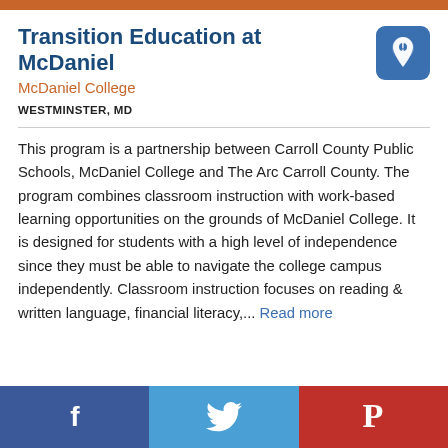Transition Education at McDaniel
McDaniel College
WESTMINSTER, MD
This program is a partnership between Carroll County Public Schools, McDaniel College and The Arc Carroll County. The program combines classroom instruction with work-based learning opportunities on the grounds of McDaniel College. It is designed for students with a high level of independence since they must be able to navigate the college campus independently. Classroom instruction focuses on reading & written language, financial literacy,... Read more
Facebook | Twitter | Pinterest